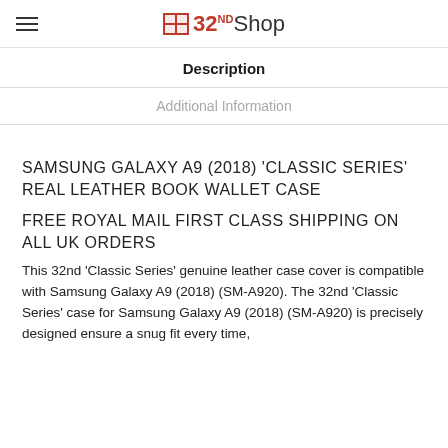32nd Shop
Description
Additional Information
SAMSUNG GALAXY A9 (2018) 'CLASSIC SERIES' REAL LEATHER BOOK WALLET CASE
FREE ROYAL MAIL FIRST CLASS SHIPPING ON ALL UK ORDERS
This 32nd ‘Classic Series’ genuine leather case cover is compatible with Samsung Galaxy A9 (2018) (SM-A920). The 32nd ‘Classic Series’ case for Samsung Galaxy A9 (2018) (SM-A920) is precisely designed ensure a snug fit every time,